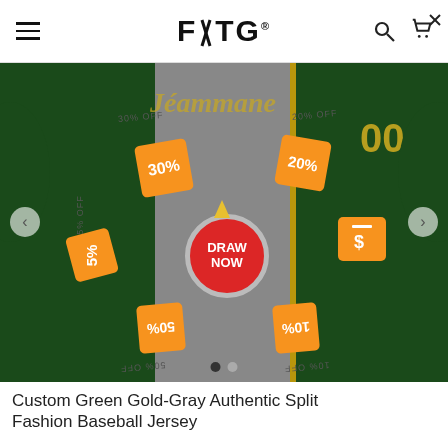FÜTG®
[Figure (photo): Custom green gold-gray split baseball jersey product photo with discount spin wheel overlay showing 5%, 10%, 20%, 30%, 50% OFF tags and a 'DRAW NOW' button in red circle center]
Custom Green Gold-Gray Authentic Split Fashion Baseball Jersey